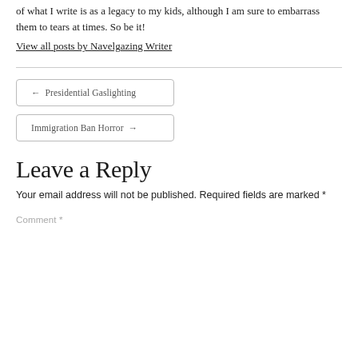of what I write is as a legacy to my kids, although I am sure to embarrass them to tears at times. So be it!
View all posts by Navelgazing Writer
← Presidential Gaslighting
Immigration Ban Horror →
Leave a Reply
Your email address will not be published. Required fields are marked *
Comment *